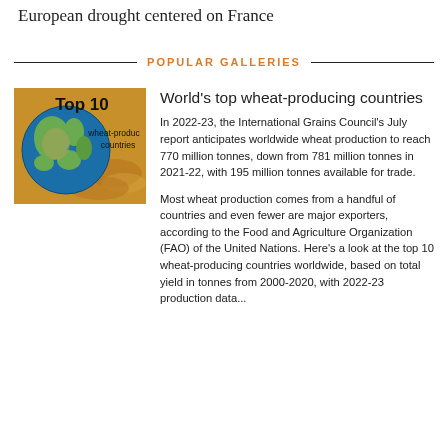European drought centered on France
POPULAR GALLERIES
[Figure (photo): Thumbnail image showing a globe and wheat grains with text 'Top 10 wheat-producing countries']
World's top wheat-producing countries
In 2022-23, the International Grains Council's July report anticipates worldwide wheat production to reach 770 million tonnes, down from 781 million tonnes in 2021-22, with 195 million tonnes available for trade.
Most wheat production comes from a handful of countries and even fewer are major exporters, according to the Food and Agriculture Organization (FAO) of the United Nations. Here's a look at the top 10 wheat-producing countries worldwide, based on total yield in tonnes from 2000-2020, with 2022-23 production data...